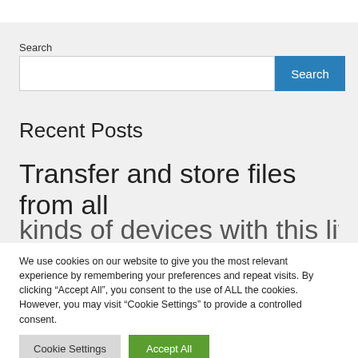Search
Search
Recent Posts
Transfer and store files from all
kinds of devices with this little
We use cookies on our website to give you the most relevant experience by remembering your preferences and repeat visits. By clicking “Accept All”, you consent to the use of ALL the cookies. However, you may visit "Cookie Settings" to provide a controlled consent.
Cookie Settings
Accept All